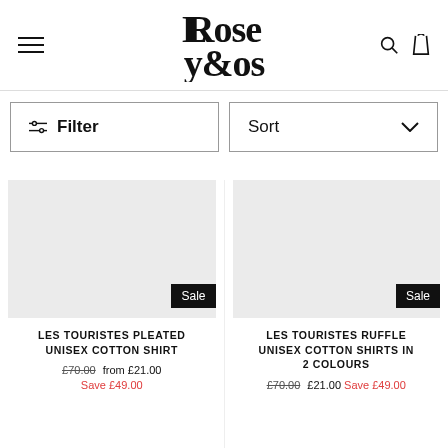[Figure (logo): Rose & Lyons brand logo in serif font]
Filter
Sort
LES TOURISTES PLEATED UNISEX COTTON SHIRT
£70.00 from £21.00 Save £49.00
LES TOURISTES RUFFLE UNISEX COTTON SHIRTS IN 2 COLOURS
£70.00 £21.00 Save £49.00
Sale
Sale